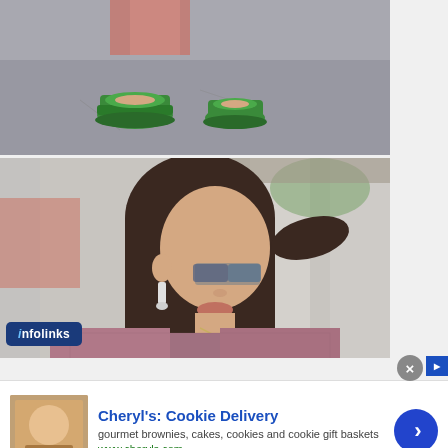[Figure (photo): Street style photo showing green mule sandals on pavement, cropped at feet/lower legs with pink/red skirt visible]
[Figure (photo): Street style portrait of a young brunette woman looking down, wearing small cat-eye sunglasses, dangling earrings, and a dusty rose/mauve textured blazer or jacket]
infolinks
Cheryl's: Cookie Delivery
gourmet brownies, cakes, cookies and cookie gift baskets
www.cheryls.com